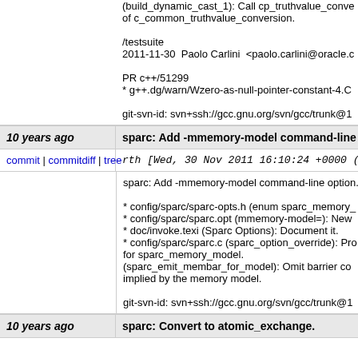(build_dynamic_cast_1): Call cp_truthvalue_conversion instead of c_common_truthvalue_conversion.

/testsuite
2011-11-30  Paolo Carlini  <paolo.carlini@oracle.c

PR c++/51299
* g++.dg/warn/Wzero-as-null-pointer-constant-4.C

git-svn-id: svn+ssh://gcc.gnu.org/svn/gcc/trunk@1
10 years ago
sparc: Add -mmemory-model command-line op
commit | commitdiff | tree
rth [Wed, 30 Nov 2011 16:10:24 +0000 (16
sparc: Add -mmemory-model command-line option.

* config/sparc/sparc-opts.h (enum sparc_memory_
* config/sparc/sparc.opt (mmemory-model=): New
* doc/invoke.texi (Sparc Options): Document it.
* config/sparc/sparc.c (sparc_option_override): Pro
for sparc_memory_model.
(sparc_emit_membar_for_model): Omit barrier co
implied by the memory model.

git-svn-id: svn+ssh://gcc.gnu.org/svn/gcc/trunk@1
10 years ago
sparc: Convert to atomic_exchange.